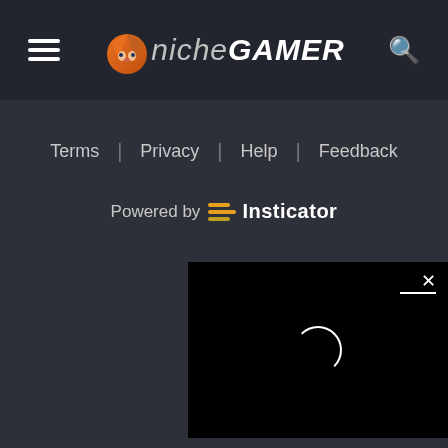Niche Gamer - navigation header with hamburger menu, logo, and search icon
Terms | Privacy | Help | Feedback
Powered by Insticator
[Figure (other): Black video player box with close button (X) and loading spinner circle]